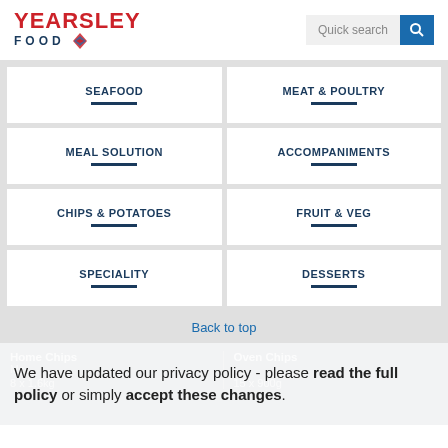[Figure (logo): Yearsley Food logo with red text and blue diamond icon]
Quick search
SEAFOOD
MEAT & POULTRY
MEAL SOLUTION
ACCOMPANIMENTS
CHIPS & POTATOES
FRUIT & VEG
SPECIALITY
DESSERTS
Back to top
Home Chips | Oven Chips
Mc...
8 x 1.6kg | 15 x 900g
We have updated our privacy policy - please read the full policy or simply accept these changes.